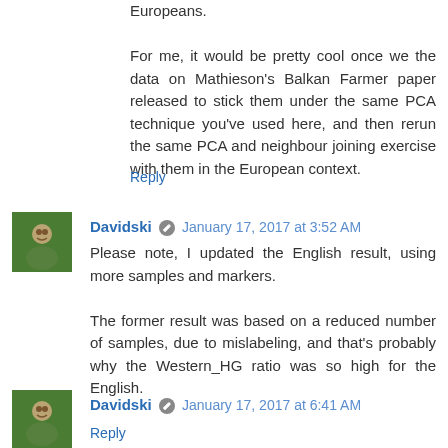Europeans.
For me, it would be pretty cool once we the data on Mathieson's Balkan Farmer paper released to stick them under the same PCA technique you've used here, and then rerun the same PCA and neighbour joining exercise with them in the European context.
Reply
Davidski  January 17, 2017 at 3:52 AM
Please note, I updated the English result, using more samples and markers.
The former result was based on a reduced number of samples, due to mislabeling, and that's probably why the Western_HG ratio was so high for the English.
Reply
Davidski  January 17, 2017 at 6:41 AM